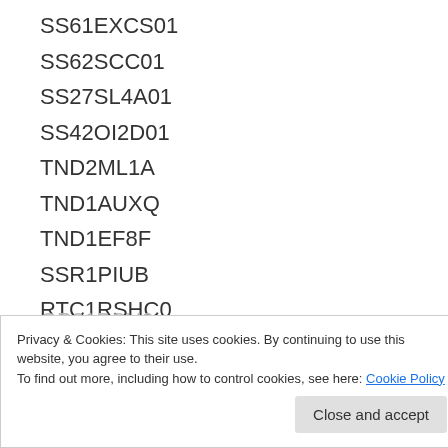SS61EXCS01
SS62SCC01
SS27SL4A01
SS42OI2D01
TND2ML1A
TND1AUXQ
TND1EF8F
SSR1PIUB
RTC1RSHC0
GP22RPPU1
RTC2RSUA0
GP21BSU0
SOAFD75S
GP21BSU0
SS63SL4A01
SS11EFTE01
Privacy & Cookies: This site uses cookies. By continuing to use this website, you agree to their use.
To find out more, including how to control cookies, see here: Cookie Policy